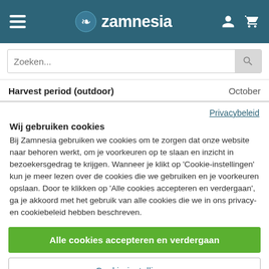Zamnesia
Zoeken...
|  |  |
| --- | --- |
| Harvest period (outdoor) | October |
Privacybeleid
Wij gebruiken cookies
Bij Zamnesia gebruiken we cookies om te zorgen dat onze website naar behoren werkt, om je voorkeuren op te slaan en inzicht in bezoekersgedrag te krijgen. Wanneer je klikt op 'Cookie-instellingen' kun je meer lezen over de cookies die we gebruiken en je voorkeuren opslaan. Door te klikken op 'Alle cookies accepteren en verdergaan', ga je akkoord met het gebruik van alle cookies die we in ons privacy- en cookiebeleid hebben beschreven.
Alle cookies accepteren en verdergaan
Cookie-instellingen